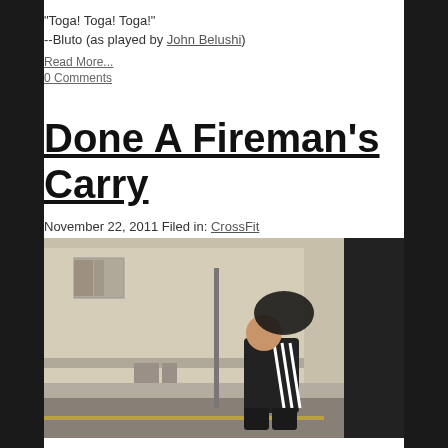"Toga! Toga! Toga!"
--Bluto (as played by John Belushi)
Read More...
0 Comments
Done A Fireman's Carry
November 22, 2011 Filed in: CrossFit
[Figure (photo): Person performing a fireman's carry on a street, wearing a black Adidas tracksuit, carrying someone on their back/shoulders. Street scene with a building in the background.]